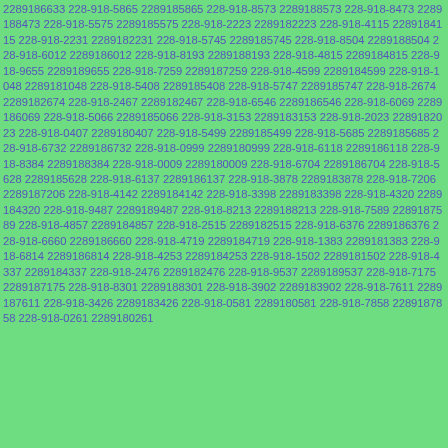2289186633 228-918-5865 2289185865 228-918-8573 2289188573 228-918-8473 2289188473 228-918-5575 2289185575 228-918-2223 2289182223 228-918-4115 2289184115 228-918-2231 2289182231 228-918-5745 2289185745 228-918-8504 2289188504 228-918-6012 2289186012 228-918-8193 2289188193 228-918-4815 2289184815 228-918-9655 2289189655 228-918-7259 2289187259 228-918-4599 2289184599 228-918-1048 2289181048 228-918-5408 2289185408 228-918-5747 2289185747 228-918-2674 2289182674 228-918-2467 2289182467 228-918-6546 2289186546 228-918-6069 2289186069 228-918-5066 2289185066 228-918-3153 2289183153 228-918-2023 2289182023 228-918-0407 2289180407 228-918-5499 2289185499 228-918-5685 2289185685 228-918-6732 2289186732 228-918-0999 2289180999 228-918-6118 2289186118 228-918-8384 2289188384 228-918-0009 2289180009 228-918-6704 2289186704 228-918-5628 2289185628 228-918-6137 2289186137 228-918-3878 2289183878 228-918-7206 2289187206 228-918-4142 2289184142 228-918-3398 2289183398 228-918-4320 2289184320 228-918-9487 2289189487 228-918-8213 2289188213 228-918-7589 2289187589 228-918-4857 2289184857 228-918-2515 2289182515 228-918-6376 2289186376 228-918-6660 2289186660 228-918-4719 2289184719 228-918-1383 2289181383 228-918-6814 2289186814 228-918-4253 2289184253 228-918-1502 2289181502 228-918-4337 2289184337 228-918-2476 2289182476 228-918-9537 2289189537 228-918-7175 2289187175 228-918-8301 2289188301 228-918-3902 2289183902 228-918-7611 2289187611 228-918-3426 2289183426 228-918-0581 2289180581 228-918-7858 2289187858 228-918-0261 2289180261